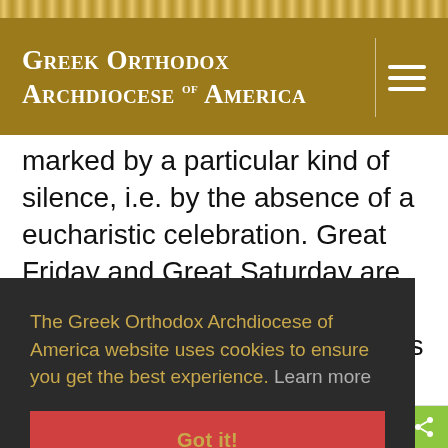Greek Orthodox Archdiocese of America
marked by a particular kind of silence, i.e. by the absence of a eucharistic celebration. Great Friday and Great Saturday are the only two days of the year when no eucharistic assembly is held. However, before the twelfth century it was the custom to celebrate the Liturgy of the Pre-Sanctified Gifts on Great Friday.
The Greek Orthodox Archdiocese of America website uses cookies to ensure you get the best experience. Learn more
Got it!
× Menu  e mockery: the cr